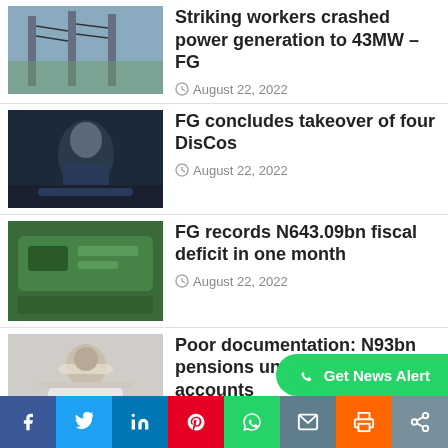Striking workers crashed power generation to 43MW – FG
August 22, 2022
FG concludes takeover of four DisCos
August 22, 2022
FG records N643.09bn fiscal deficit in one month
August 22, 2022
Poor documentation: N93bn pensions unpaid into workers' accounts
August 22, 2022
Stock investors lose N158bn in one week
August 22, 2022
[Figure (other): WhatsApp Get News Alert button (green, rounded)]
[Figure (other): Social sharing bar with icons: Facebook, Twitter, LinkedIn, Pinterest, WhatsApp, Email, Print, Share]